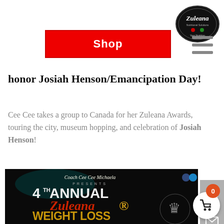[Figure (logo): Zuleana logo in black oval frame with decorative elements and tagline text]
[Figure (screenshot): Red Shop button with white bold text]
[Figure (screenshot): Hamburger menu icon with three horizontal grey bars]
honor Josiah Henson/Emancipation Day!
Cee Cee takes a group to Canada for her Zuleana Awards, touring the city, museum hopping, and celebration of Josiah Henson!
[Figure (photo): 4th Annual Zuleana Weight Loss Awards promotional banner with dark background, gold and red decorative text showing 'Coach Cee Cee Michaela Presents 4th Annual Zuleana Weight Loss Awards' with ornate crown/jewelry graphic]